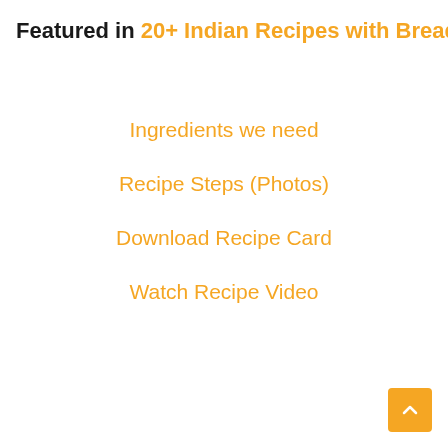Featured in 20+ Indian Recipes with Bread Slices
Ingredients we need
Recipe Steps (Photos)
Download Recipe Card
Watch Recipe Video